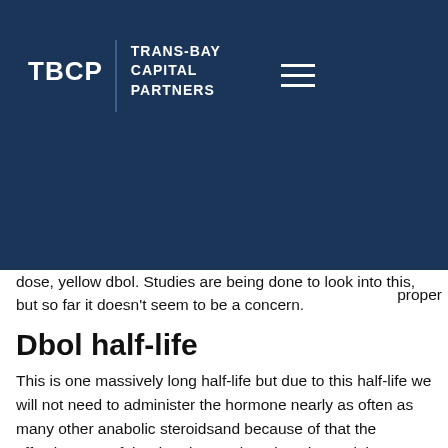TBCP | TRANS-BAY CAPITAL PARTNERS
dose, yellow dbol. Studies are being done to look into this, but so far it doesn't seem to be a concern.
Dbol half-life
This is one massively long half-life but due to this half-life we will not need to administer the hormone nearly as often as many other anabolic steroidsand because of that the effectiveness of the drug is greatly reduced once it is consumed."
While many doctors are quick to use testosterone after a heart attack or other devastating illness, they argue that some